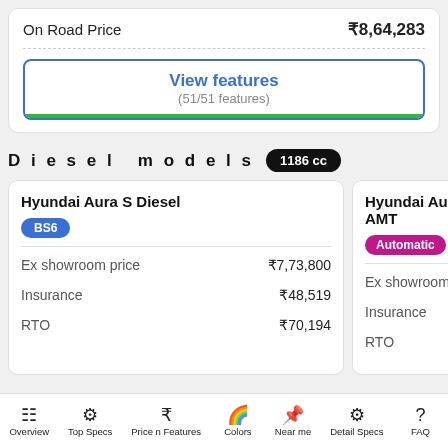|  |  |
| --- | --- |
| On Road Price | ₹8,64,283 |
View features
(51/51 features)
Diesel models 1186 cc
|  |  |
| --- | --- |
| Hyundai Aura S Diesel |  |
| Ex showroom price | ₹7,73,800 |
| Insurance | ₹48,519 |
| RTO | ₹70,194 |
|  |  |
| --- | --- |
| Hyundai Aura S AMT |  |
| Ex showroom price |  |
| Insurance |  |
| RTO |  |
Overview  Top Specs  Price n Features  Colors  Near me  Detail Specs  FAQ